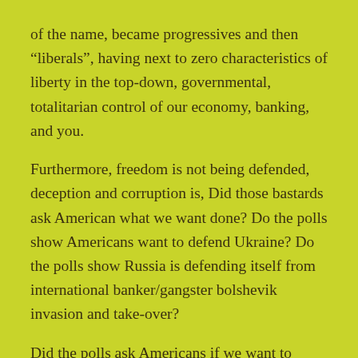of the name, became progressives and then “liberals”, having next to zero characteristics of liberty in the top-down, governmental, totalitarian control of our economy, banking, and you.
Furthermore, freedom is not being defended, deception and corruption is, Did those bastards ask American what we want done? Do the polls show Americans want to defend Ukraine? Do the polls show Russia is defending itself from international banker/gangster bolshevik invasion and take-over?
Did the polls ask Americans if we want to defend Russia’s freedom?
Do the polls show Americans want evergy